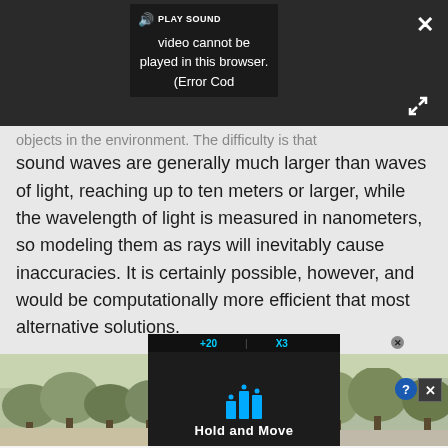[Figure (screenshot): Video player overlay showing error message: 'Video cannot be played in this browser. (Error Cod' with PLAY SOUND button, close X button, and expand icon on dark background]
objects in the environment. The difficulty is that sound waves are generally much larger than waves of light, reaching up to ten meters or larger, while the wavelength of light is measured in nanometers, so modeling them as rays will inevitably cause inaccuracies. It is certainly possible, however, and would be computationally more efficient that most alternative solutions.
[Figure (screenshot): Advertisement banner showing 'Hold and Move' app with dark phone screen, cyan bar chart icons, trees in background, question mark and X close buttons]